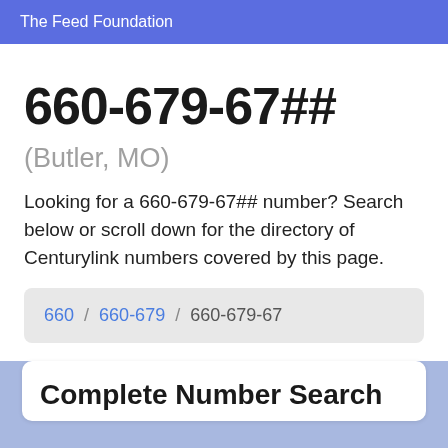The Feed Foundation
660-679-67##
(Butler, MO)
Looking for a 660-679-67## number? Search below or scroll down for the directory of Centurylink numbers covered by this page.
660 / 660-679 / 660-679-67